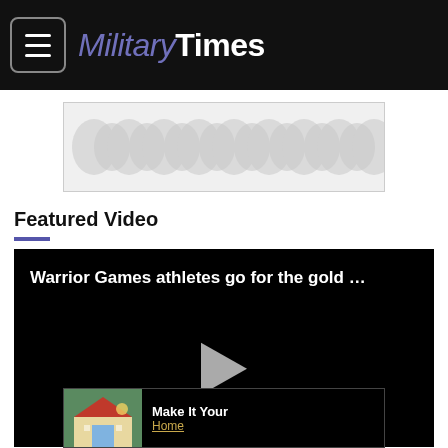MilitaryTimes
[Figure (other): Advertisement banner with decorative pattern of overlapping circles/teardrops in light gray on white background]
Featured Video
[Figure (other): Video player with black background showing title 'Warrior Games athletes go for the gold …' with a white play button triangle in the center]
[Figure (other): Bottom advertisement strip with house thumbnail image and text 'Make It Your Home']